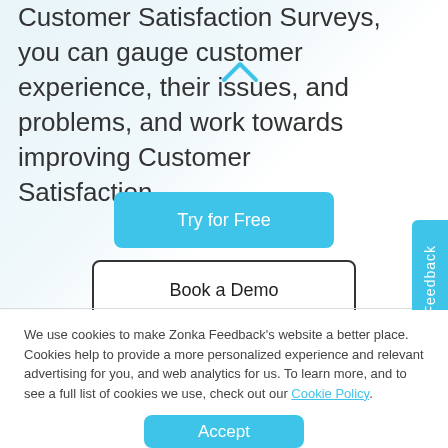Customer Satisfaction Surveys, you can gauge customer experience, their issues, and problems, and work towards improving Customer Satisfaction.
Try for Free
Book a Demo
Feedback
We use cookies to make Zonka Feedback's website a better place. Cookies help to provide a more personalized experience and relevant advertising for you, and web analytics for us. To learn more, and to see a full list of cookies we use, check out our Cookie Policy.
Accept